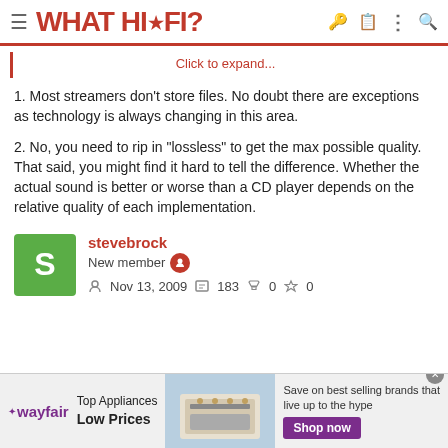WHAT HI·FI?
Click to expand...
1. Most streamers don't store files. No doubt there are exceptions as technology is always changing in this area.
2. No, you need to rip in "lossless" to get the max possible quality. That said, you might find it hard to tell the difference. Whether the actual sound is better or worse than a CD player depends on the relative quality of each implementation.
stevebrock
New member
Nov 13, 2009  183  0  0
[Figure (infographic): Wayfair advertisement: Top Appliances Low Prices, Shop now button, image of a stove/range appliance]